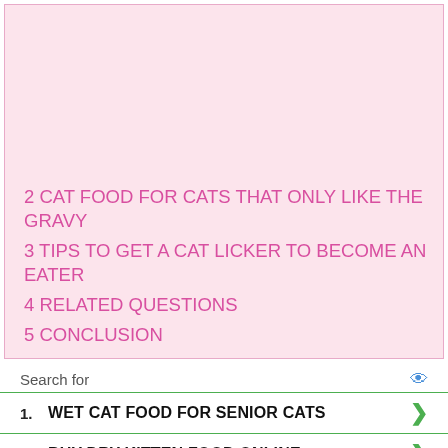2 CAT FOOD FOR CATS THAT ONLY LIKE THE GRAVY
3 TIPS TO GET A CAT LICKER TO BECOME AN EATER
4 RELATED QUESTIONS
5 CONCLUSION
Search for
1.  WET CAT FOOD FOR SENIOR CATS
2.  BUY DRY KITTEN FOOD ONLINE
Ad | Business Focus